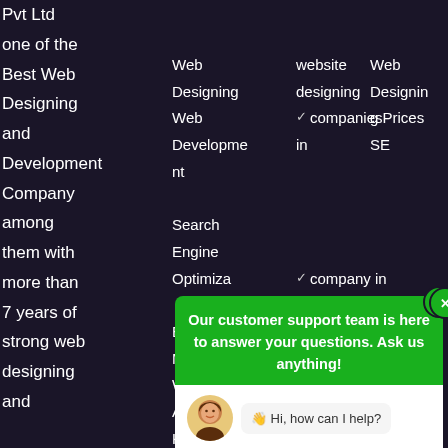Pvt Ltd one of the Best Web Designing and Development Company among them with more than 7 years of strong web designing and
Web Designing Web Development Search Engine Optimiza Email Marketing Web Analytics Keyword
website designing companies in marketing company in hyderabad
Web Designing Prices SEO Bulk P
[Figure (screenshot): Chat support popup overlay with green header saying 'Our customer support team is here to answer your questions. Ask us anything!', avatar of a female agent, message 'Hi, how can I help?' and a reply input field 'Reply to WeCreativez...' with a send button, plus a WhatsApp floating action button]
Our customer support team is here to answer your questions. Ask us anything!
Hi, how can I help?
Reply to WeCreativez...